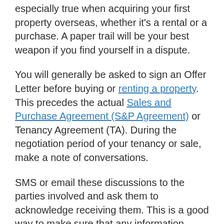especially true when acquiring your first property overseas, whether it's a rental or a purchase. A paper trail will be your best weapon if you find yourself in a dispute.
You will generally be asked to sign an Offer Letter before buying or renting a property. This precedes the actual Sales and Purchase Agreement (S&P Agreement) or Tenancy Agreement (TA). During the negotiation period of your tenancy or sale, make a note of conversations.
SMS or email these discussions to the parties involved and ask them to acknowledge receiving them. This is a good way to make sure that any information, promise, or discussion of future arrangements agreed